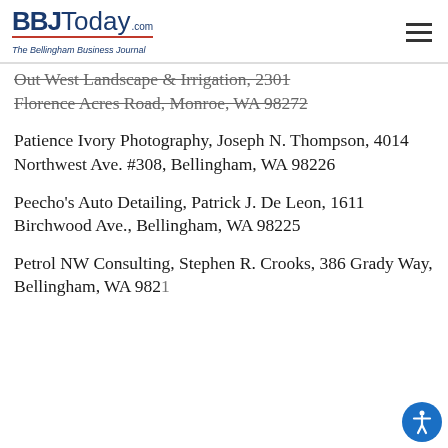BBJToday.com — The Bellingham Business Journal
Out West Landscape & Irrigation, 2301 Florence Acres Road, Monroe, WA 98272
Patience Ivory Photography, Joseph N. Thompson, 4014 Northwest Ave. #308, Bellingham, WA 98226
Peecho's Auto Detailing, Patrick J. De Leon, 1611 Birchwood Ave., Bellingham, WA 98225
Petrol NW Consulting, Stephen R. Crooks, 386 Grady Way, Bellingham, WA 9821…